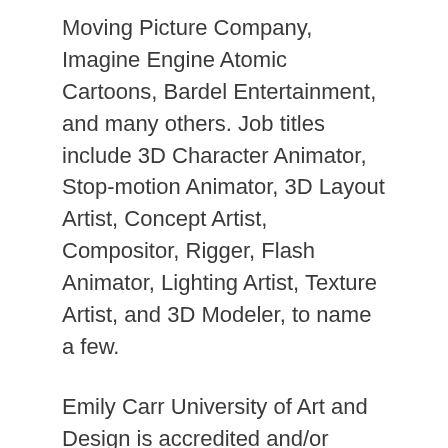Moving Picture Company, Imagine Engine Atomic Cartoons, Bardel Entertainment, and many others. Job titles include 3D Character Animator, Stop-motion Animator, 3D Layout Artist, Concept Artist, Compositor, Rigger, Flash Animator, Lighting Artist, Texture Artist, and 3D Modeler, to name a few.
Emily Carr University of Art and Design is accredited and/or recognized by the Ministry of Advanced Education, British Columbia.
[Figure (logo): Vancouver Film School logo — dark red square with white border and white VFS text]
Vancouver Film School, Vancouver, BC, Canada
Established in 1987, with its...